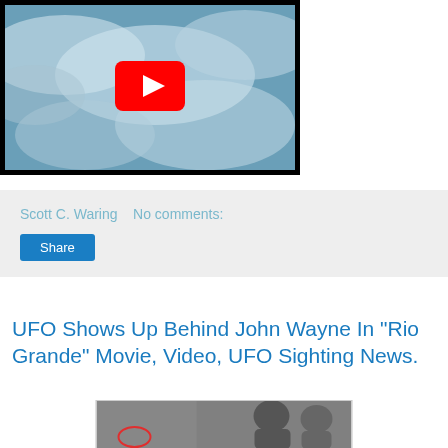[Figure (screenshot): YouTube video player showing aerial/satellite view with clouds and YouTube play button overlay]
Scott C. Waring    No comments:
Share
UFO Shows Up Behind John Wayne In "Rio Grande" Movie, Video, UFO Sighting News.
[Figure (photo): Black and white still from a movie showing two people, with a red circle drawn around an object in the lower left area]